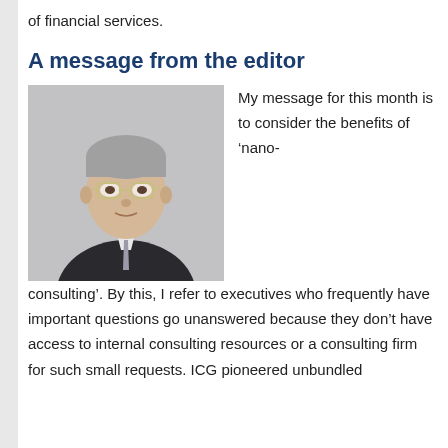of financial services.
A message from the editor
[Figure (photo): Portrait photo of a middle-aged man in a dark suit and grey tie, wearing glasses, against a grey background.]
My message for this month is to consider the benefits of ‘nano-consulting’. By this, I refer to executives who frequently have important questions go unanswered because they don’t have access to internal consulting resources or a consulting firm for such small requests. ICG pioneered unbundled